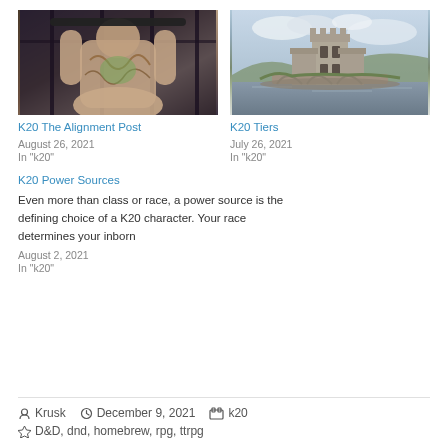[Figure (photo): Person with tattoos on back, viewed from behind, holding bars]
[Figure (photo): Scottish castle (Eilean Donan) beside a lake with bridge, cloudy sky]
K20 The Alignment Post
August 26, 2021
In "k20"
K20 Tiers
July 26, 2021
In "k20"
K20 Power Sources
Even more than class or race, a power source is the defining choice of a K20 character. Your race determines your inborn
August 2, 2021
In "k20"
Krusk  December 9, 2021  k20  D&D, dnd, homebrew, rpg, ttrpg